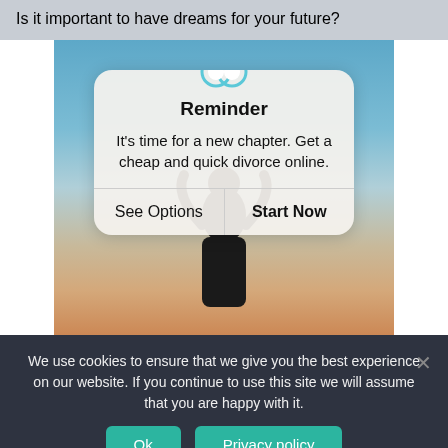Is it important to have dreams for your future?
[Figure (screenshot): A background photo of a person silhouetted against a sunset/sky, with an overlay popup dialog. The dialog has a cloud icon, title 'Reminder', body text 'It's time for a new chapter. Get a cheap and quick divorce online.', a divider line, and two buttons: 'See Options' and 'Start Now'.]
We use cookies to ensure that we give you the best experience on our website. If you continue to use this site we will assume that you are happy with it.